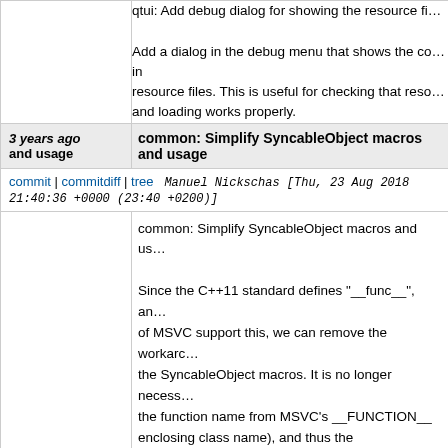|  |  |
| --- | --- |
|  | qtui: Add debug dialog for showing the resource fi...

Add a dialog in the debug menu that shows the co... in
resource files. This is useful for checking that reso... and loading works properly. |
| 3 years ago
and usage | common: Simplify SyncableObject macros and usage |
| commit | commitdiff | tree | Manuel Nickschas [Thu, 23 Aug 2018 21:40:36 +0000 (23:40 +0200)] |
|  | common: Simplify SyncableObject macros and us...

Since the C++11 standard defines "__func__", an... of MSVC support this, we can remove the workarc... the SyncableObject macros. It is no longer necess... the function name from MSVC's __FUNCTION__ ... enclosing class name), and thus the _className0... declared by the SYNCABLE_OBJECT macro is n...

Repurpose the macro to define the syncMetaObje... instead, and remove the no-
longer needed INIT_SYNCABLE_OBJECT
macro.
The syncMetaObject() function is used by the sign... accessing the metaObject() of the base class in ca... |